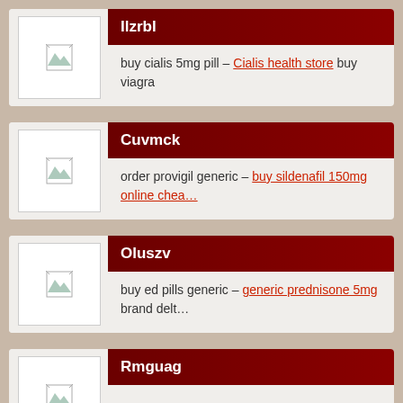Ilzrbl
buy cialis 5mg pill – Cialis health store buy viagra
Cuvmck
order provigil generic – buy sildenafil 150mg online chea…
Oluszv
buy ed pills generic – generic prednisone 5mg brand delt…
Rmguag